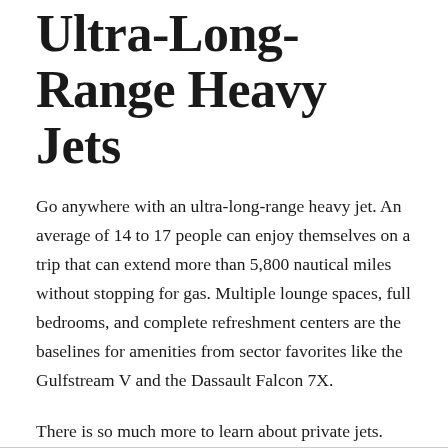Ultra-Long-Range Heavy Jets
Go anywhere with an ultra-long-range heavy jet. An average of 14 to 17 people can enjoy themselves on a trip that can extend more than 5,800 nautical miles without stopping for gas. Multiple lounge spaces, full bedrooms, and complete refreshment centers are the baselines for amenities from sector favorites like the Gulfstream V and the Dassault Falcon 7X.
There is so much more to learn about private jets. You just need to find the perfect team to help you educate yourself as you explore your options.